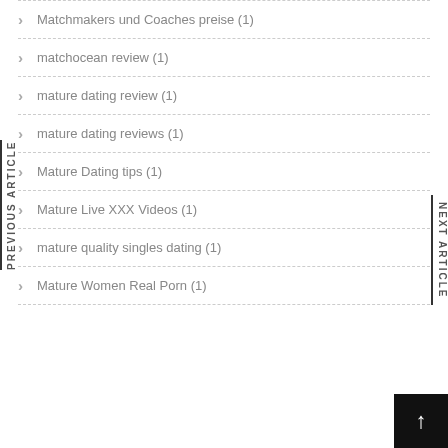Matchmakers und Coaches preise (1)
matchocean review (1)
mature dating review (1)
mature dating reviews (1)
Mature Dating tips (1)
Mature Live XXX Videos (1)
mature quality singles dating (1)
Mature Women Real Porn (1)